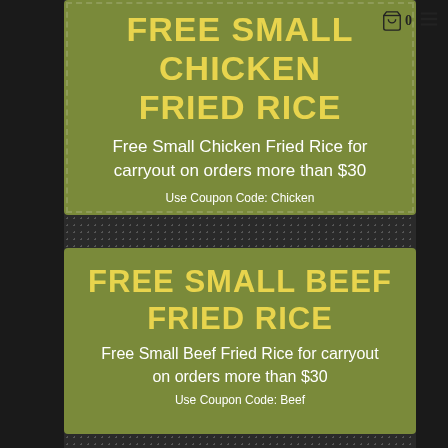FREE SMALL CHICKEN FRIED RICE
Free Small Chicken Fried Rice for carryout on orders more than $30
Use Coupon Code: Chicken
FREE SMALL BEEF FRIED RICE
Free Small Beef Fried Rice for carryout on orders more than $30
Use Coupon Code: Beef